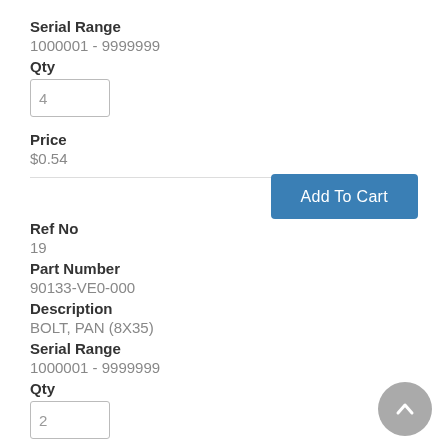Serial Range
1000001 - 9999999
Qty
4
Price
$0.54
Add To Cart
Ref No
19
Part Number
90133-VE0-000
Description
BOLT, PAN (8X35)
Serial Range
1000001 - 9999999
Qty
2
Price